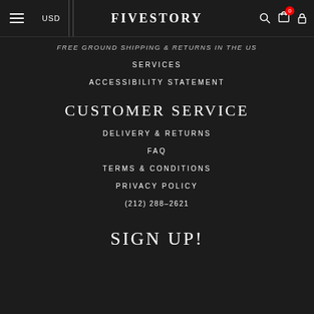USD | FIVESTORY
FREE GROUND SHIPPING & RETURNS IN THE US
SERVICES
ACCESSIBILITY STATEMENT
CUSTOMER SERVICE
DELIVERY & RETURNS
FAQ
TERMS & CONDITIONS
PRIVACY POLICY
(212) 288-2621
SIGN UP!